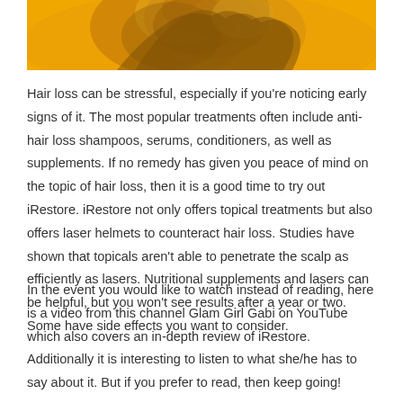[Figure (photo): Partial photo of a woman with blonde hair against an orange/yellow background, cropped at the top of the page]
Hair loss can be stressful, especially if you're noticing early signs of it. The most popular treatments often include anti-hair loss shampoos, serums, conditioners, as well as supplements. If no remedy has given you peace of mind on the topic of hair loss, then it is a good time to try out iRestore. iRestore not only offers topical treatments but also offers laser helmets to counteract hair loss. Studies have shown that topicals aren't able to penetrate the scalp as efficiently as lasers. Nutritional supplements and lasers can be helpful, but you won't see results after a year or two. Some have side effects you want to consider.
In the event you would like to watch instead of reading, here is a video from this channel Glam Girl Gabi on YouTube which also covers an in-depth review of iRestore. Additionally it is interesting to listen to what she/he has to say about it. But if you prefer to read, then keep going!